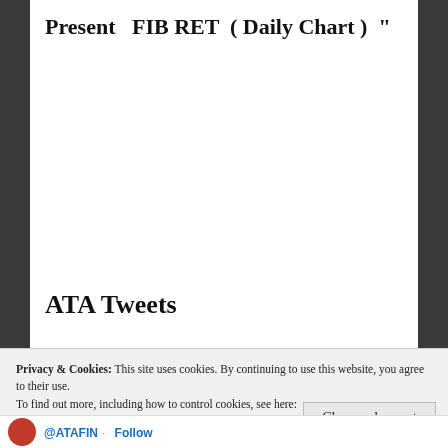Present   FIB RET  ( Daily Chart )  "
ATA Tweets
First – Special
Privacy & Cookies: This site uses cookies. By continuing to use this website, you agree to their use.
To find out more, including how to control cookies, see here: Cookie Policy
@ATAFIN · Follow